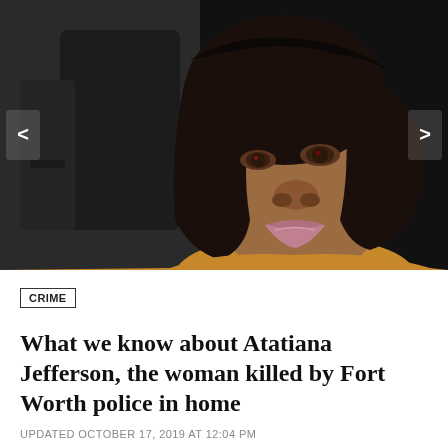[Figure (photo): A young Black woman with a dark bob haircut, looking upward slightly, wearing a mustard/yellow top, photographed in what appears to be a car interior. Dark/night background. Navigation arrows on left and right sides of the image.]
CRIME
What we know about Atatiana Jefferson, the woman killed by Fort Worth police in home
UPDATED OCTOBER 17, 2019 AT 12:04 PM